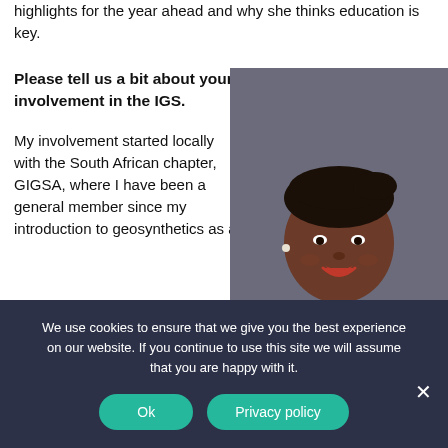highlights for the year ahead and why she thinks education is key.
Please tell us a bit about your involvement in the IGS.
My involvement started locally with the South African chapter, GIGSA, where I have been a general member since my introduction to geosynthetics as a
[Figure (photo): Professional headshot of a woman smiling, wearing a black top, with braided hair pulled back, against a grey background.]
We use cookies to ensure that we give you the best experience on our website. If you continue to use this site we will assume that you are happy with it.
Ok
Privacy policy